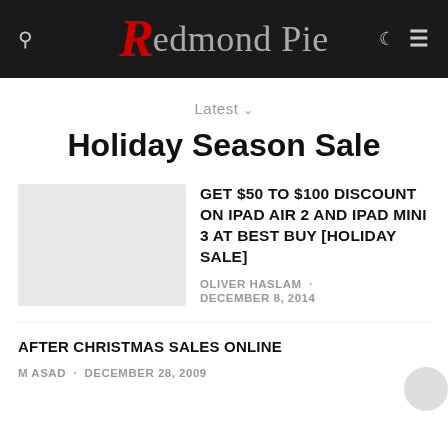Redmond Pie
Latest
Holiday Season Sale
[Figure (other): Thumbnail placeholder image (light grey rectangle)]
GET $50 TO $100 DISCOUNT ON IPAD AIR 2 AND IPAD MINI 3 AT BEST BUY [HOLIDAY SALE]
OLIVER HASLAM · DECEMBER 8, 2014
AFTER CHRISTMAS SALES ONLINE
M ASAD · DECEMBER 28, 2009